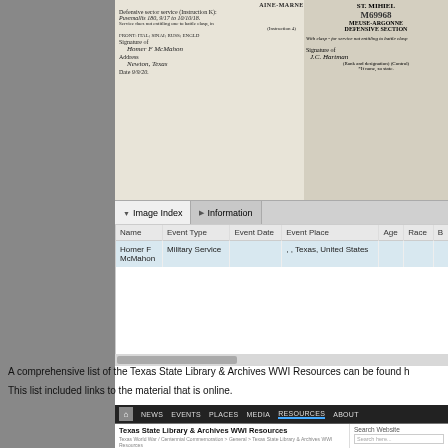[Figure (screenshot): Screenshot of a genealogy/military service record image index showing a document with handwritten entries for Homer F McMahon with Military Service event in Texas, United States. Tabs for Image Index and Information are visible.]
A comprehensive list of the Texas State Library & Archives WWI Resources can be found h
This list included links to the material that is online.
[Figure (screenshot): Screenshot of the Texas State Library & Archives WWI Resources website, showing navigation bar with NEWS, EVENTS, PLACES, MEDIA, RESOURCES, ABOUT, a black-and-white photo of a military parade with horses and cadets, site title 'Texas State Library & Archives WWI Resources', Search Website field, Upcoming Events, Texas State Library and Archives Commission logo.]